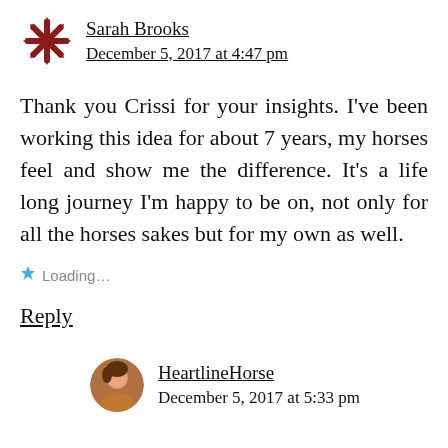Sarah Brooks
December 5, 2017 at 4:47 pm
Thank you Crissi for your insights. I've been working this idea for about 7 years, my horses feel and show me the difference. It's a life long journey I'm happy to be on, not only for all the horses sakes but for my own as well.
Loading…
Reply
HeartlineHorse
December 5, 2017 at 5:33 pm